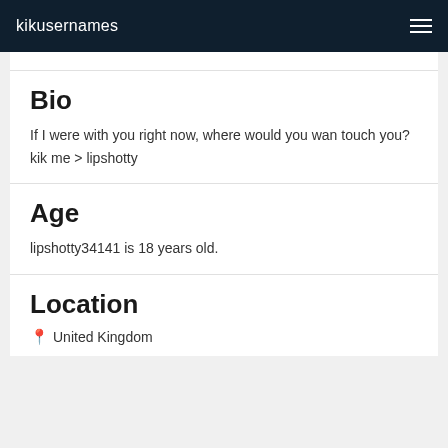kikusernames
Bio
If I were with you right now, where would you wan touch you? kik me > lipshotty
Age
lipshotty34141 is 18 years old.
Location
United Kingdom